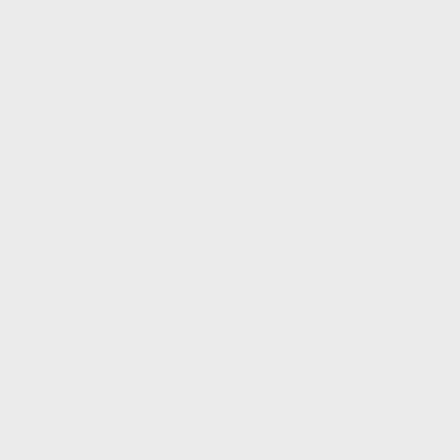scary for them to be chased around by a giant (sorry Jeff). I'm so happy for their second